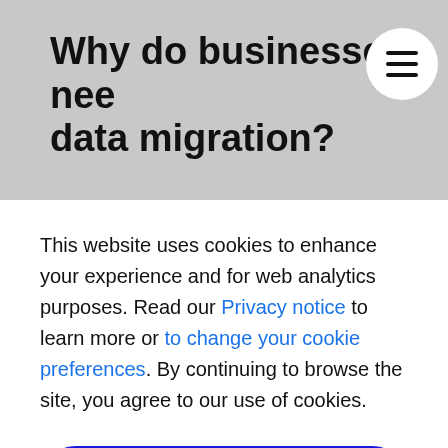Why do businesses need data migration?
This website uses cookies to enhance your experience and for web analytics purposes. Read our Privacy notice to learn more or to change your cookie preferences. By continuing to browse the site, you agree to our use of cookies.
I agree
Why do businesses need data migration?  Getting a c